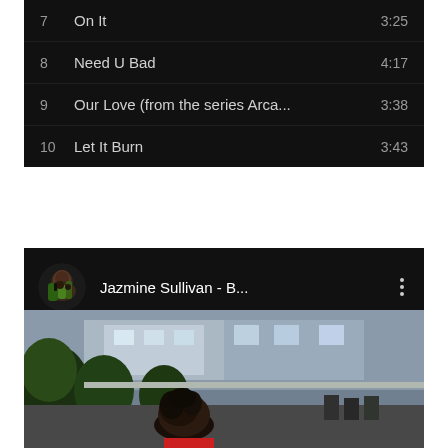| # | Title | Duration |
| --- | --- | --- |
| 7 | On It | 3:25 |
| 8 | Need U Bad | 4:17 |
| 9 | Our Love (from the series Arca... | 3:38 |
| 10 | Let It Burn | 3:43 |
[Figure (screenshot): Music player now playing bar showing Jazmine Sullivan - B... with avatar image and three-dot menu]
[Figure (photo): Outdoor video scene showing a woman with curly hair in the foreground and building architecture with trees in the background]